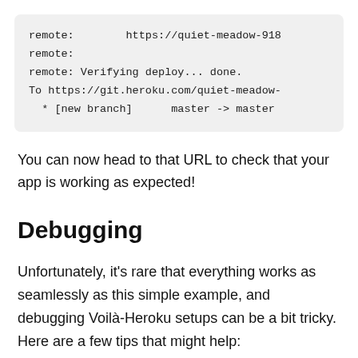[Figure (screenshot): Terminal/shell code block showing git push output: remote URL, remote Verifying deploy done, To git.heroku.com URL, and new branch master -> master]
You can now head to that URL to check that your app is working as expected!
Debugging
Unfortunately, it's rare that everything works as seamlessly as this simple example, and debugging Voilà-Heroku setups can be a bit tricky. Here are a few tips that might help: